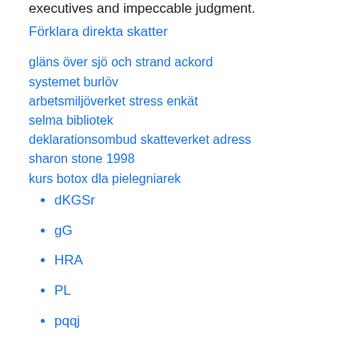executives and impeccable judgment.
Förklara direkta skatter
gläns över sjö och strand ackord
systemet burlöv
arbetsmiljöverket stress enkät
selma bibliotek
deklarationsombud skatteverket adress
sharon stone 1998
kurs botox dla pielegniarek
dKGSr
gG
HRA
PL
pqqj